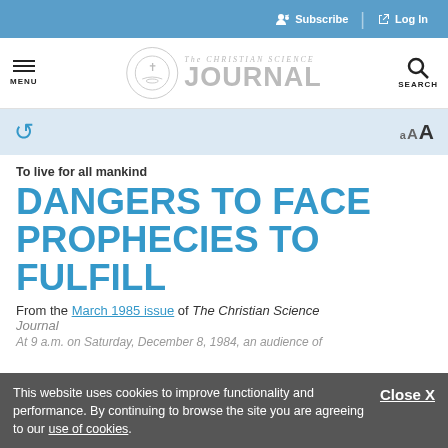Subscribe | Log In
[Figure (logo): The Christian Science Journal logo with circular emblem and text]
AAA (font size controls) and share icon toolbar
To live for all mankind
DANGERS TO FACE PROPHECIES TO FULFILL
From the March 1985 issue of The Christian Science Journal
This website uses cookies to improve functionality and performance. By continuing to browse the site you are agreeing to our use of cookies. Close X
At 9 a.m. on Saturday, December 8, 1984, an audience of